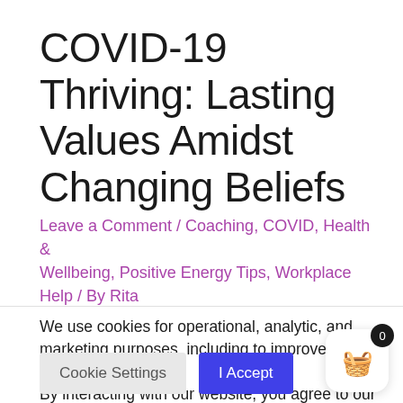COVID-19 Thriving: Lasting Values Amidst Changing Beliefs
Leave a Comment / Coaching, COVID, Health & Wellbeing, Positive Energy Tips, Workplace Help / By Rita
We use cookies for operational, analytic, and marketing purposes, including to improve your site experience.
By interacting with our website, you agree to our use of ALL the cookies as described in our Privacy Policy. However, you may visit "Cookie Settings" to provide a controlled consent.